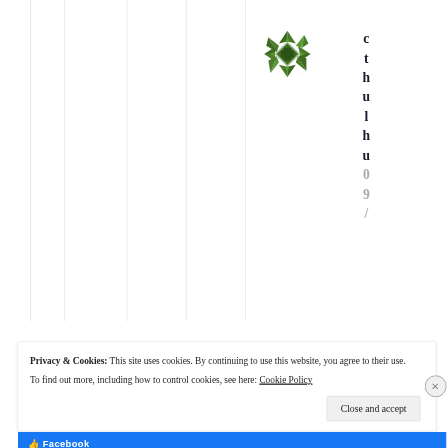[Figure (logo): Green geometric snowflake/star logo for 'cthulhu' blog]
c t h u l h u 0 9 /
Privacy & Cookies: This site uses cookies. By continuing to use this website, you agree to their use.
To find out more, including how to control cookies, see here: Cookie Policy
Close and accept